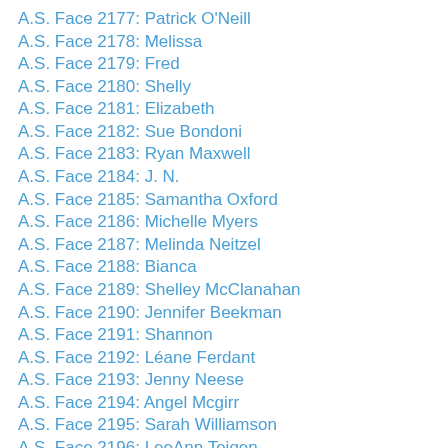A.S. Face 2177: Patrick O'Neill
A.S. Face 2178: Melissa
A.S. Face 2179: Fred
A.S. Face 2180: Shelly
A.S. Face 2181: Elizabeth
A.S. Face 2182: Sue Bondoni
A.S. Face 2183: Ryan Maxwell
A.S. Face 2184: J. N.
A.S. Face 2185: Samantha Oxford
A.S. Face 2186: Michelle Myers
A.S. Face 2187: Melinda Neitzel
A.S. Face 2188: Bianca
A.S. Face 2189: Shelley McClanahan
A.S. Face 2190: Jennifer Beekman
A.S. Face 2191: Shannon
A.S. Face 2192: Léane Ferdant
A.S. Face 2193: Jenny Neese
A.S. Face 2194: Angel Mcgirr
A.S. Face 2195: Sarah Williamson
A.S. Face 2196: LeeAnn Teigen